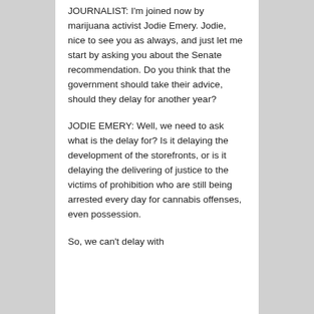JOURNALIST: I'm joined now by marijuana activist Jodie Emery. Jodie, nice to see you as always, and just let me start by asking you about the Senate recommendation. Do you think that the government should take their advice, should they delay for another year?
JODIE EMERY: Well, we need to ask what is the delay for? Is it delaying the development of the storefronts, or is it delaying the delivering of justice to the victims of prohibition who are still being arrested every day for cannabis offenses, even possession.
So, we can't delay with